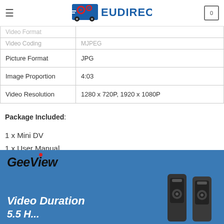EUDIRECT
| Property | Value |
| --- | --- |
| Video Format |  |
| Video Coding | MJPEG |
| Picture Format | JPG |
| Image Proportion | 4:03 |
| Video Resolution | 1280 x 720P, 1920 x 1080P |
Package Included:
1 x Mini DV
1 x User Manual
1 x USB & TV Cable
[Figure (photo): GeeView branded product image showing two mini DV cameras on a blue background with 'Video Duration' text]